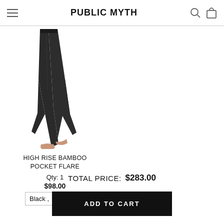PUBLIC MYTH
[Figure (photo): Lower half of a person wearing black high-rise flare pants, barefoot, on white background]
HIGH RISE BAMBOO POCKET FLARE
Qty: 1
$98.00
Black, ▾
TOTAL PRICE:  $283.00
ADD TO CART